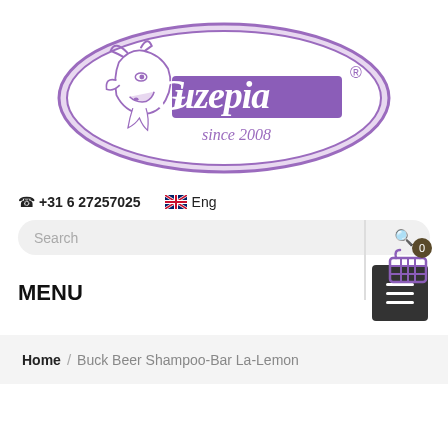[Figure (logo): Uzepia brand logo — oval shape with purple border, goat illustration on the left, cursive 'uzepia' text in purple, 'since 2008' text, registered trademark symbol]
+31 6 27257025   Eng
Search
MENU
Home / Buck Beer Shampoo-Bar La-Lemon